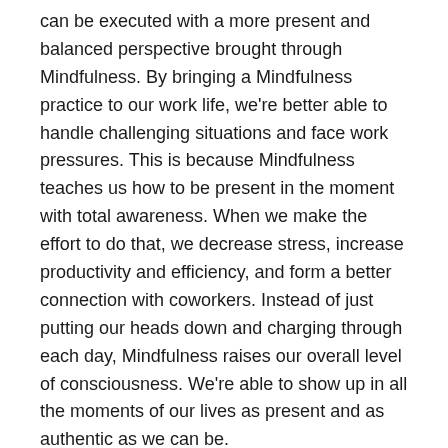can be executed with a more present and balanced perspective brought through Mindfulness. By bringing a Mindfulness practice to our work life, we're better able to handle challenging situations and face work pressures. This is because Mindfulness teaches us how to be present in the moment with total awareness. When we make the effort to do that, we decrease stress, increase productivity and efficiency, and form a better connection with coworkers. Instead of just putting our heads down and charging through each day, Mindfulness raises our overall level of consciousness. We're able to show up in all the moments of our lives as present and as authentic as we can be.
Today, many organizations are introducing and practicing Mindfulness, and it's changing how people work together as well as improving the environments in which we work. To address the burnout crisis, a number of workplaces are